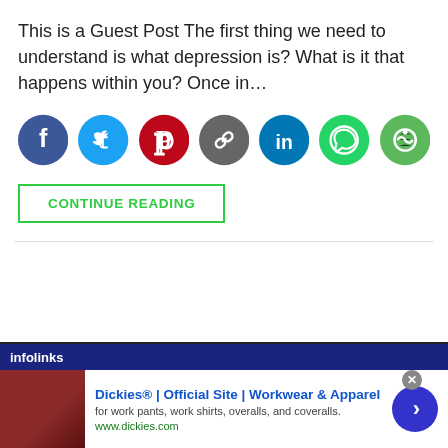This is a Guest Post The first thing we need to understand is what depression is? What is it that happens within you? Once in…
[Figure (infographic): Row of 7 social sharing icons: Facebook (blue), Twitter (light blue), Pinterest (red), Link/Copy (grey), LinkedIn (dark blue), WhatsApp (green), another green circular icon]
CONTINUE READING
[Figure (infographic): Advertisement banner: infolinks tab label, Dickies Official Site Workwear and Apparel ad with image, title, subtitle text 'for work pants, work shirts, overalls, and coveralls.', URL www.dickies.com, and a blue arrow button]